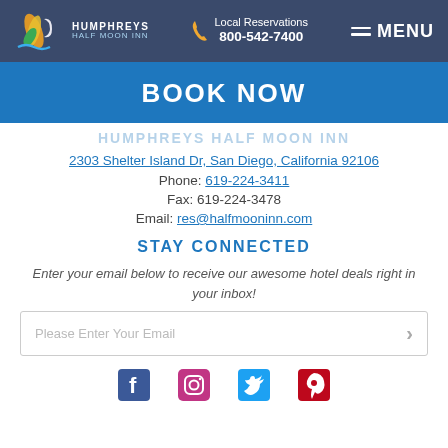Local Reservations 800-542-7400 MENU
BOOK NOW
HUMPHREYS HALF MOON INN
2303 Shelter Island Dr, San Diego, California 92106
Phone: 619-224-3411
Fax: 619-224-3478
Email: res@halfmooninn.com
STAY CONNECTED
Enter your email below to receive our awesome hotel deals right in your inbox!
Please Enter Your Email
[Figure (other): Social media icons row: Facebook, Instagram, Twitter, Pinterest]